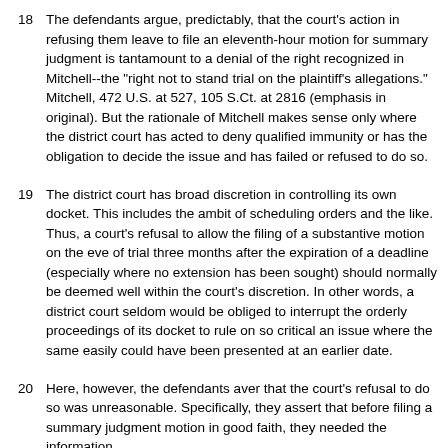18 The defendants argue, predictably, that the court's action in refusing them leave to file an eleventh-hour motion for summary judgment is tantamount to a denial of the right recognized in Mitchell--the "right not to stand trial on the plaintiff's allegations." Mitchell, 472 U.S. at 527, 105 S.Ct. at 2816 (emphasis in original). But the rationale of Mitchell makes sense only where the district court has acted to deny qualified immunity or has the obligation to decide the issue and has failed or refused to do so.
19 The district court has broad discretion in controlling its own docket. This includes the ambit of scheduling orders and the like. Thus, a court's refusal to allow the filing of a substantive motion on the eve of trial three months after the expiration of a deadline (especially where no extension has been sought) should normally be deemed well within the court's discretion. In other words, a district court seldom would be obliged to interrupt the orderly proceedings of its docket to rule on so critical an issue where the same easily could have been presented at an earlier date.
20 Here, however, the defendants aver that the court's refusal to do so was unreasonable. Specifically, they assert that before filing a summary judgment motion in good faith, they needed the information